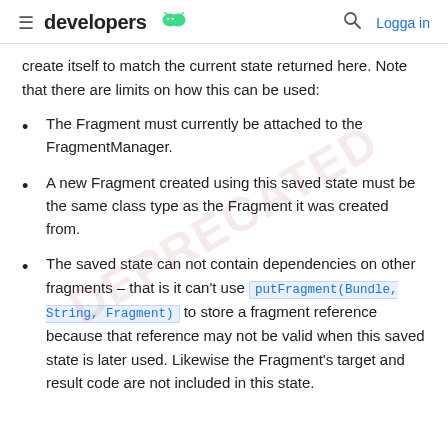≡ developers 🤖  🔍  Logga in
create itself to match the current state returned here. Note that there are limits on how this can be used:
The Fragment must currently be attached to the FragmentManager.
A new Fragment created using this saved state must be the same class type as the Fragment it was created from.
The saved state can not contain dependencies on other fragments – that is it can't use putFragment(Bundle, String, Fragment) to store a fragment reference because that reference may not be valid when this saved state is later used. Likewise the Fragment's target and result code are not included in this state.